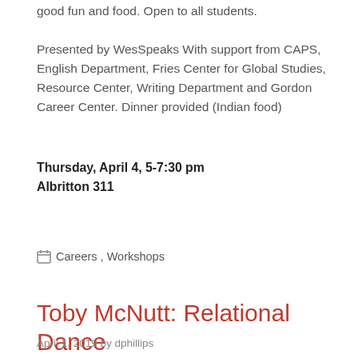good fun and food. Open to all students. Presented by WesSpeaks With support from CAPS, English Department, Fries Center for Global Studies, Resource Center, Writing Department and Gordon Career Center. Dinner provided (Indian food)
Thursday, April 4, 5-7:30 pm
Albritton 311
Careers, Workshops
Toby McNutt: Relational Dance
April 1, 2019 by dphillips